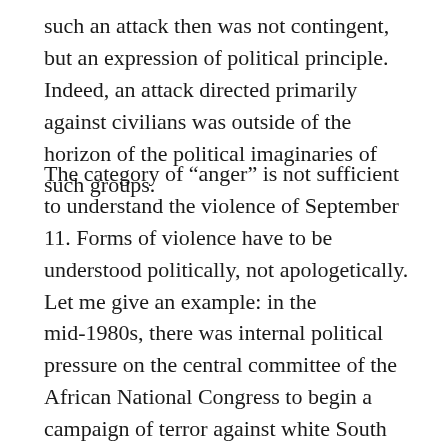such an attack then was not contingent, but an expression of political principle. Indeed, an attack directed primarily against civilians was outside of the horizon of the political imaginaries of such groups.
The category of “anger” is not sufficient to understand the violence of September 11. Forms of violence have to be understood politically, not apologetically. Let me give an example: in the mid-1980s, there was internal political pressure on the central committee of the African National Congress to begin a campaign of terror against white South African civilians. Such demands expressed the desire for revenge as well as the idea that white South Africans would agree to dismantle apartheid only if they suffered just as black South Africans had suffered. The ANC central committee refused to countenance such demands, not